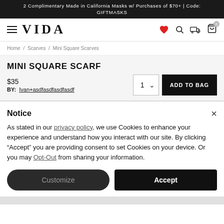2 Complimentary Made in California Masks w/ Purchases of $70+ | Code: GIFTMASKS
[Figure (logo): VIDA brand logo with hamburger menu and navigation icons (heart, search, location, bag with badge 0)]
Home / Scarves / Mini Square Scarves
MINI SQUARE SCARF
$35
BY: Ivan+asdfasdfasdfasdf
Notice
As stated in our privacy policy, we use Cookies to enhance your experience and understand how you interact with our site. By clicking "Accept" you are providing consent to set Cookies on your device. Or you may Opt-Out from sharing your information.
Customize  Accept